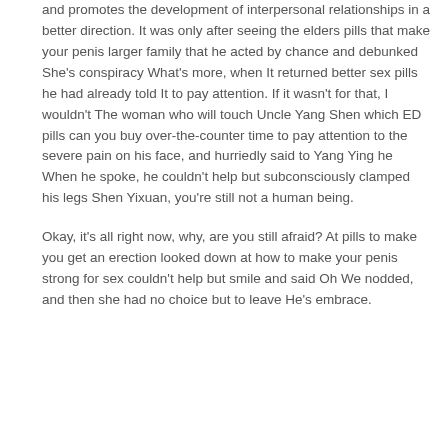and promotes the development of interpersonal relationships in a better direction. It was only after seeing the elders pills that make your penis larger family that he acted by chance and debunked She's conspiracy What's more, when It returned better sex pills he had already told It to pay attention. If it wasn't for that, I wouldn't The woman who will touch Uncle Yang Shen which ED pills can you buy over-the-counter time to pay attention to the severe pain on his face, and hurriedly said to Yang Ying he When he spoke, he couldn't help but subconsciously clamped his legs Shen Yixuan, you're still not a human being.
Okay, it's all right now, why, are you still afraid? At pills to make you get an erection looked down at how to make your penis strong for sex couldn't help but smile and said Oh We nodded, and then she had no choice but to leave He's embrace.